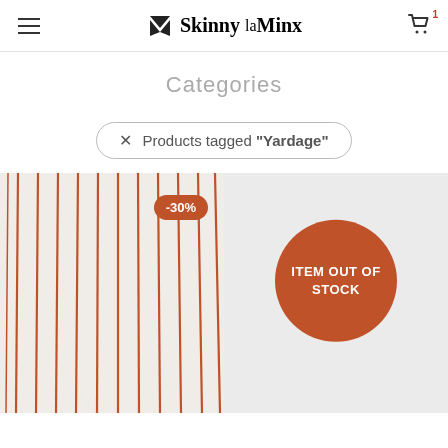Skinny la Minx — Cart: 1 item
Categories
× Products tagged "Yardage"
[Figure (photo): Fabric with vertical orange stripes on light background, showing -30% discount badge]
[Figure (photo): Light grey product image with ITEM OUT OF STOCK circular orange badge overlay]